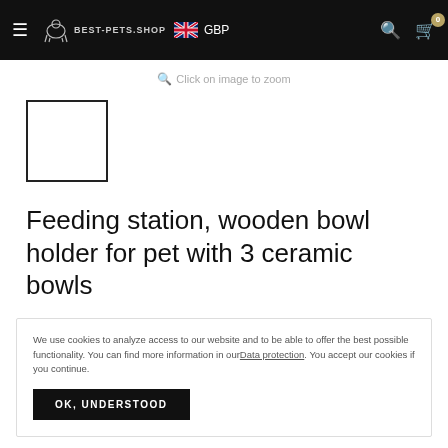Best-Pets.Shop | GBP | Navigation bar
Click on image to zoom
[Figure (photo): Small product thumbnail placeholder square with black border]
Feeding station, wooden bowl holder for pet with 3 ceramic bowls
We use cookies to analyze access to our website and to be able to offer the best possible functionality. You can find more information in our Data protection. You accept our cookies if you continue.
OK, UNDERSTOOD